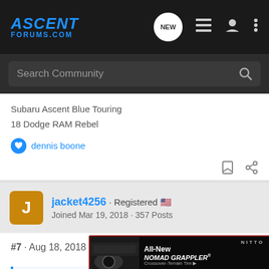[Figure (screenshot): Ascent Forums navigation bar with logo and icons]
[Figure (screenshot): Search Community search bar]
Subaru Ascent Blue Touring
18 Dodge RAM Rebel
dennis boone
jacket4256 · Registered 🇺🇸
Joined Mar 19, 2018 · 357 Posts
#7 · Aug 18, 2018
Alucard said: ↑
Ha just have though
[Figure (screenshot): Nitto All-New Nomad Grappler Crossover-Terrain Tire advertisement banner]